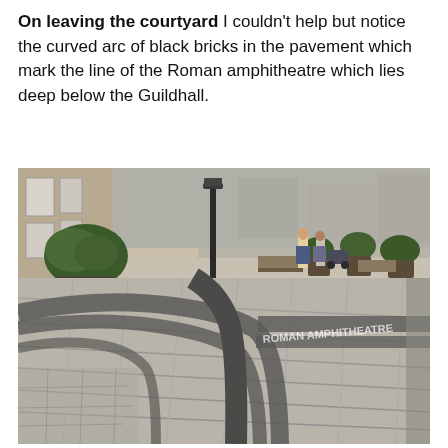On leaving the courtyard I couldn't help but notice the curved arc of black bricks in the pavement which mark the line of the Roman amphitheatre which lies deep below the Guildhall.
[Figure (photo): A photograph of a courtyard pavement showing a curved arc of dark/black bricks embedded in light stone paving slabs, marking the line of the Roman amphitheatre below the Guildhall. In the background are stone buildings, a lamp post, potted plants, and pedestrians.]